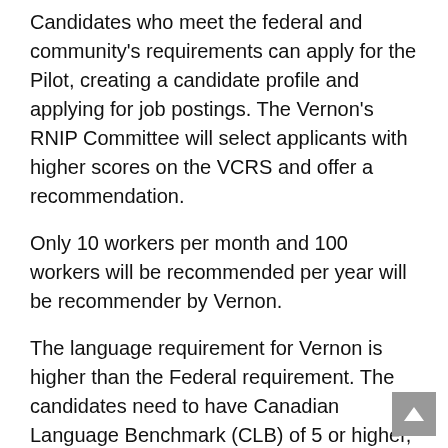Candidates who meet the federal and community's requirements can apply for the Pilot, creating a candidate profile and applying for job postings. The Vernon's RNIP Committee will select applicants with higher scores on the VCRS and offer a recommendation.
Only 10 workers per month and 100 workers will be recommended per year will be recommender by Vernon.
The language requirement for Vernon is higher than the Federal requirement. The candidates need to have Canadian Language Benchmark (CLB) of 5 or higher, in English or French, for all skill levels and jobs.
The minimum hourly wage for all candidates must be $23 CAD per hour or higher, if needed to meet the range of wages for the particular occupation. Exceptions apply for applicants who are currently